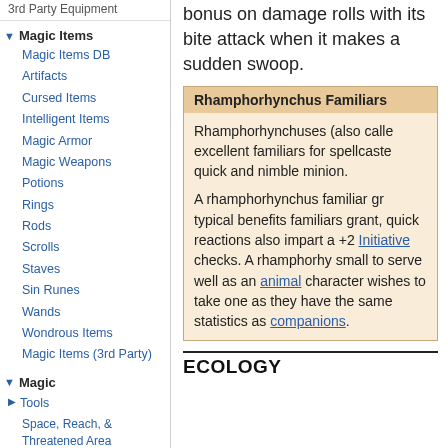3rd Party Equipment
Magic Items
Magic Items DB
Artifacts
Cursed Items
Intelligent Items
Magic Armor
Magic Weapons
Potions
Rings
Rods
Scrolls
Staves
Sin Runes
Wands
Wondrous Items
Magic Items (3rd Party)
Magic
Tools
Space, Reach, & Threatened Area Templates
Spells (Paizo)
Spells (3rd Party)
Preconstructed Spellbooks
bonus on damage rolls with its bite attack when it makes a sudden swoop.
Rhamphorhynchus Familiars
Rhamphorhynchuses (also called excellent familiars for spellcaste quick and nimble minion.

A rhamphorhynchus familiar gr typical benefits familiars grant, quick reactions also impart a +2 Initiative checks. A rhamphorhy small to serve well as an animal character wishes to take one as they have the same statistics as companions.
ECOLOGY